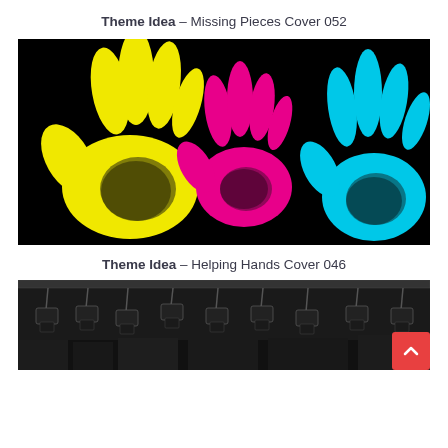Theme Idea – Missing Pieces Cover 052
[Figure (illustration): Black background with three colorful handprints: a large yellow handprint on the left, a smaller magenta/pink handprint in the center, and a cyan/light blue handprint on the right.]
Theme Idea – Helping Hands Cover 046
[Figure (photo): Black and white photo showing multiple camera rigs or lighting equipment hanging from above, with a red scroll-to-top button overlaid in the bottom right corner.]